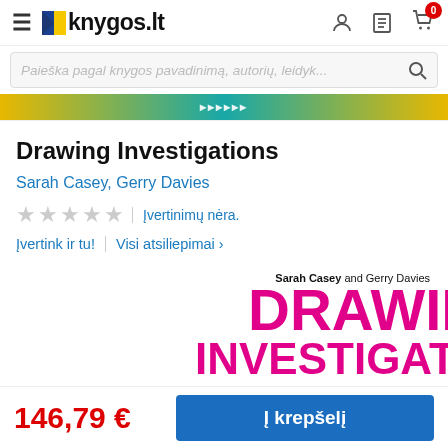knygos.lt
Paieška pagal knygos pavadinimą, autorių, leidyk...
Drawing Investigations
Sarah Casey, Gerry Davies
Įvertinimų nėra.
Įvertink ir tu! | Visi atsiliepimai >
[Figure (illustration): Book cover for Drawing Investigations by Sarah Casey and Gerry Davies, showing large magenta text 'DRAWING INVESTIGATIONS' on white background]
146,79 € | krepšelį